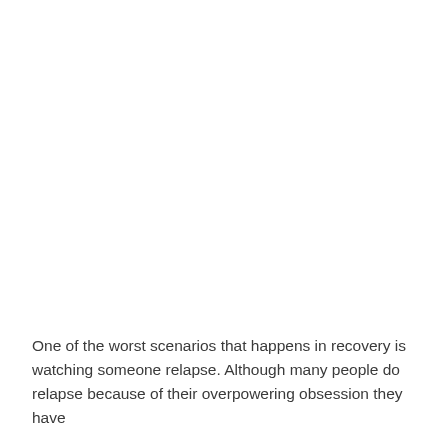One of the worst scenarios that happens in recovery is watching someone relapse. Although many people do relapse because of their overpowering obsession they have